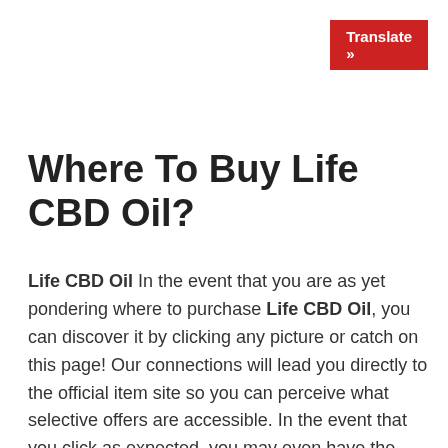Translate »
Where To Buy Life CBD Oil?
Life CBD Oil In the event that you are as yet pondering where to purchase Life CBD Oil, you can discover it by clicking any picture or catch on this page! Our connections will lead you directly to the official item site so you can perceive what selective offers are accessible. In the event that you click as expected, you may even have the option to guarantee a trial offer for the color. However, in the event that you stand by too long, the offer could terminate, or supplies will sell out before you find the